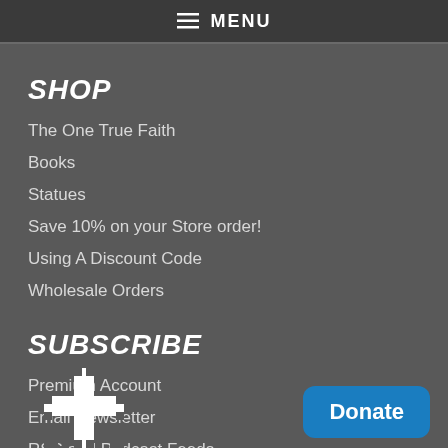≡ MENU
SHOP
The One True Faith
Books
Statues
Save 10% on your Store order!
Using A Discount Code
Wholesale Orders
SUBSCRIBE
Premium Account
Email Newsletter
RSS and Podcast Feeds
[Figure (logo): Cross logo partially visible at bottom left]
[Figure (other): Donate button (blue rounded rectangle) at bottom right]